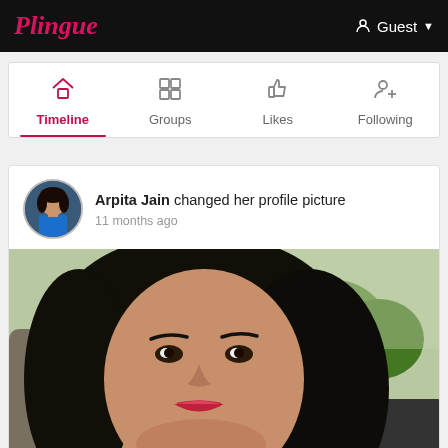Plingue   Guest
[Figure (screenshot): Navigation tab bar with Timeline (active/selected, pink icon and underline), Groups, Likes, Following tabs with icons]
Arpita Jain changed her profile picture — 11 months ago
[Figure (photo): Profile picture of a young woman with long dark hair, wearing makeup, smiling, photographed in a car with trees visible in the background]